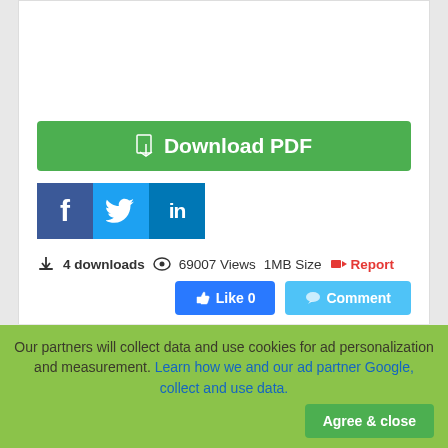[Figure (screenshot): Green Download PDF button with PDF file icon]
[Figure (infographic): Social sharing icons: Facebook (dark blue), Twitter (light blue), LinkedIn (dark blue)]
4 downloads   69007 Views   1MB Size   Report
[Figure (screenshot): Like 0 button (blue) and Comment button (light blue)]
iii. This report is available at no cost from the National
Our partners will collect data and use cookies for ad personalization and measurement. Learn how we and our ad partner Google, collect and use data.
[Figure (screenshot): Agree & close button (green)]